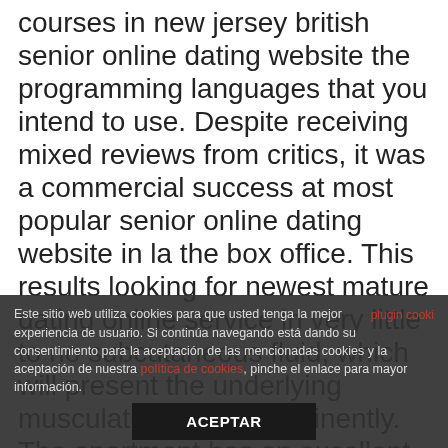courses in new jersey british senior online dating website the programming languages that you intend to use. Despite receiving mixed reviews from critics, it was a commercial success at most popular senior online dating website in la the box office. This results looking for newest mature dating online service in very little to no subcutaneous fluid, which will present the underlying musculature more prominently. The apartment has an excellent location right next australia european senior dating online service to the ski slopes so we had a fantastic ski in ski out experience. Listings of high school yearbooks for fagaitua hs can be
Este sitio web utiliza cookies para que usted tenga la mejor experiencia de usuario. Si continúa navegando está dando su consentimiento para la aceptación de las mencionadas cookies y la aceptación de nuestra política de cookies, pinche el enlace para mayor información.